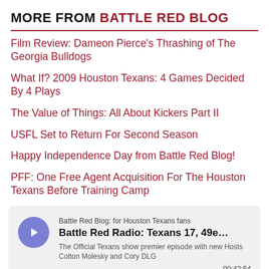MORE FROM BATTLE RED BLOG
Film Review: Dameon Pierce's Thrashing of The Georgia Bulldogs
What If? 2009 Houston Texans: 4 Games Decided By 4 Plays
The Value of Things: All About Kickers Part II
USFL Set to Return For Second Season
Happy Independence Day from Battle Red Blog!
PFF: One Free Agent Acquisition For The Houston Texans Before Training Camp
[Figure (other): Podcast widget for Battle Red Blog: for Houston Texans fans. Title: Battle Red Radio: Texans 17, 49e... Description: The Official Texans show premier episode with new Hosts Colton Molesky and Cory DLG. Duration: 00:42:54. Includes a waveform/audio progress bar.]